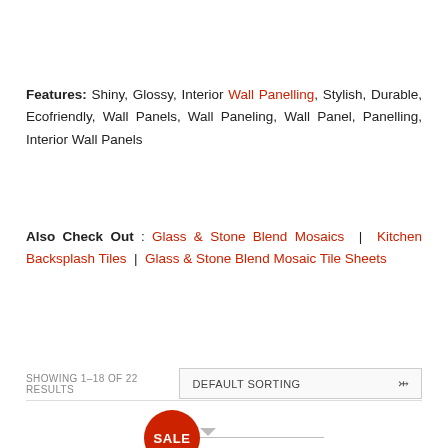Features: Shiny, Glossy, Interior Wall Panelling, Stylish, Durable, Ecofriendly, Wall Panels, Wall Paneling, Wall Panel, Panelling, Interior Wall Panels
Also Check Out : Glass & Stone Blend Mosaics | Kitchen Backsplash Tiles | Glass & Stone Blend Mosaic Tile Sheets
SHOWING 1–18 OF 22 RESULTS
DEFAULT SORTING
SALE
RIPPLE
$138.99 $64.99